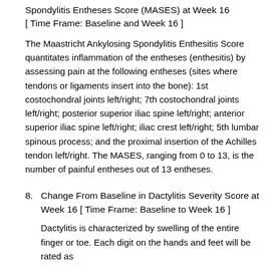Spondylitis Entheses Score (MASES) at Week 16
[ Time Frame: Baseline and Week 16 ]
The Maastricht Ankylosing Spondylitis Enthesitis Score quantitates inflammation of the entheses (enthesitis) by assessing pain at the following entheses (sites where tendons or ligaments insert into the bone): 1st costochondral joints left/right; 7th costochondral joints left/right; posterior superior iliac spine left/right; anterior superior iliac spine left/right; iliac crest left/right; 5th lumbar spinous process; and the proximal insertion of the Achilles tendon left/right. The MASES, ranging from 0 to 13, is the number of painful entheses out of 13 entheses.
8. Change From Baseline in Dactylitis Severity Score at Week 16 [ Time Frame: Baseline to Week 16 ]
Dactylitis is characterized by swelling of the entire finger or toe. Each digit on the hands and feet will be rated as